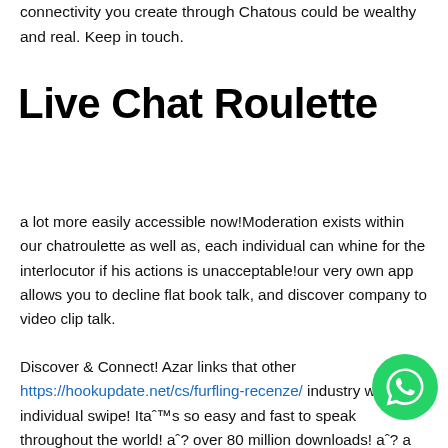connectivity you create through Chatous could be wealthy and real. Keep in touch.
Live Chat Roulette
a lot more easily accessible now!Moderation exists within our chatroulette as well as, each individual can whine for the interlocutor if his actions is unacceptable!our very own app allows you to decline flat book talk, and discover company to video clip talk.
Discover & Connect! Azar links that other https://hookupdate.net/cs/furfling-recenze/ industry with an individual swipe! Itaˆ™s so easy and fast to speak throughout the world! aˆ? over 80 million downloads! aˆ? a lot more than 10 billion Discovery Matches! aˆ? offered
[Figure (illustration): WhatsApp floating action button, green circle with white phone/chat icon]